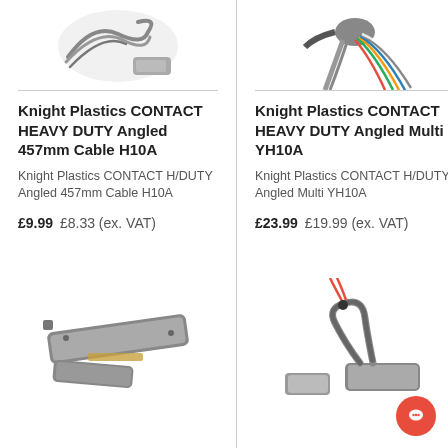[Figure (photo): Top-left product image: coiled cable/connector for Knight Plastics CONTACT HEAVY DUTY Angled 457mm Cable H10A]
[Figure (photo): Top-right product image: multicore cable with coloured wires for Knight Plastics CONTACT HEAVY DUTY Angled Multi YH10A]
Knight Plastics CONTACT HEAVY DUTY Angled 457mm Cable H10A
Knight Plastics CONTACT HEAVY DUTY Angled Multi YH10A
Knight Plastics CONTACT H/DUTY Angled 457mm Cable H10A
Knight Plastics CONTACT H/DUTY Angled Multi YH10A
£9.99 £8.33 (ex. VAT)
£23.99 £19.99 (ex. VAT)
[Figure (photo): Bottom-left product image: grey heavy duty angled magnetic contact sensor, two-piece, bottom view showing connectors]
[Figure (photo): Bottom-right product image: heavy duty magnetic contact with armoured cable and red/white wires]